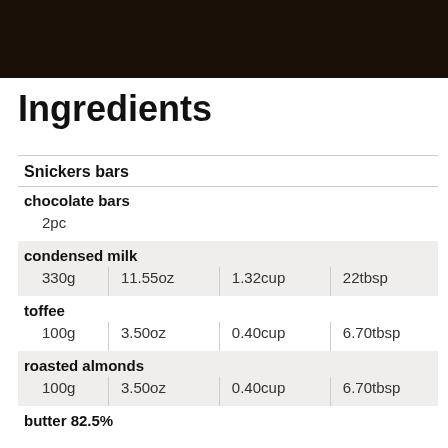[Figure (photo): ]
Ingredients
| ingredient | g | oz | cup | tbsp |
| --- | --- | --- | --- | --- |
| Snickers bars |  |  |  |  |
| chocolate bars | 2pc |  |  |  |
| condensed milk | 330g | 11.55oz | 1.32cup | 22tbsp |
| toffee | 100g | 3.50oz | 0.40cup | 6.70tbsp |
| roasted almonds | 100g | 3.50oz | 0.40cup | 6.70tbsp |
| butter 82.5% |  |  |  |  |